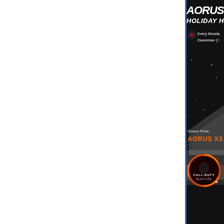[Figure (advertisement): AORUS Holiday promotion ad banner (right portion visible). Shows AORUS logo in italic bold white, 'HOLIDAY' text below, camera icon with text 'Every Monday December (D...' in white/orange, laptop image (AORUS X3 gaming laptop), Grand Prize label, 'AORUS X3' in orange text, and Call of Duty Black Ops III circular badge at bottom. Dark/black background with particle effects.]